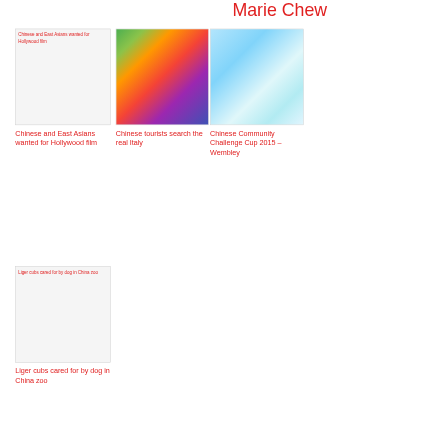Marie Chew
[Figure (photo): Broken image placeholder with alt text: Chinese and East Asians wanted for Hollywood film]
Chinese and East Asians wanted for Hollywood film
[Figure (photo): Colorful rainbow striped image]
Chinese tourists search the real Italy
[Figure (photo): Abstract blue wave background image]
Chinese Community Challenge Cup 2015 – Wembley
[Figure (photo): Broken image placeholder with alt text: Liger cubs cared for by dog in China zoo]
Liger cubs cared for by dog in China zoo